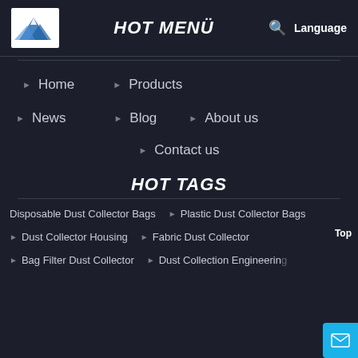HOT MENÜ
Home
Products
News
Blog
About us
Contact us
HOT TAGS
Disposable Dust Collector Bags
Plastic Dust Collector Bags
Dust Collector Housing
Fabric Dust Collector
Bag Filter Dust Collector
Dust Collection Engineering